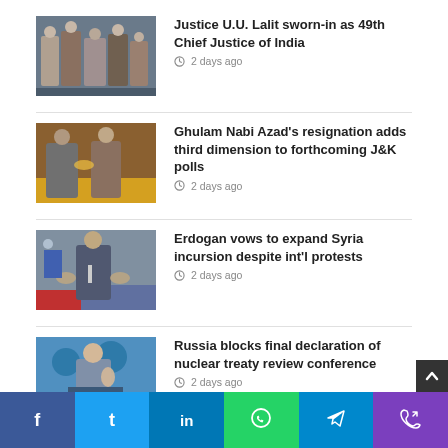[Figure (photo): News thumbnail: Justice U.U. Lalit swearing-in ceremony]
Justice U.U. Lalit sworn-in as 49th Chief Justice of India
2 days ago
[Figure (photo): News thumbnail: Ghulam Nabi Azad with political figures]
Ghulam Nabi Azad's resignation adds third dimension to forthcoming J&K polls
2 days ago
[Figure (photo): News thumbnail: Erdogan speaking at podium]
Erdogan vows to expand Syria incursion despite int'l protests
2 days ago
[Figure (photo): News thumbnail: Russia spokesperson at press conference]
Russia blocks final declaration of nuclear treaty review conference
2 days ago
f  t  in  (whatsapp)  (telegram)  (phone)